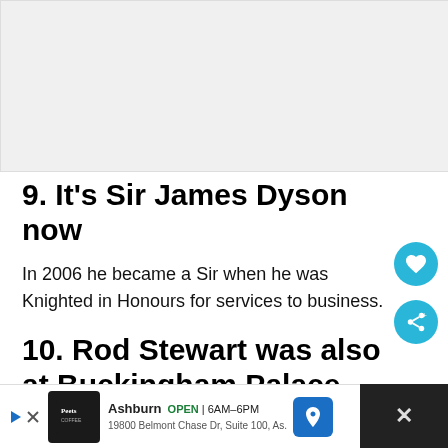[Figure (other): Gray placeholder image box at the top of the page]
9. It's Sir James Dyson now
In 2006 he became a Sir when he was Knighted in Honours for services to business.
10. Rod Stewart was also at Buckingham Palace the same day
[Figure (other): Advertisement banner for Peet's Coffee, Ashburn location, OPEN 6AM-6PM, 19800 Belmont Chase Dr, Suite 100, As.]